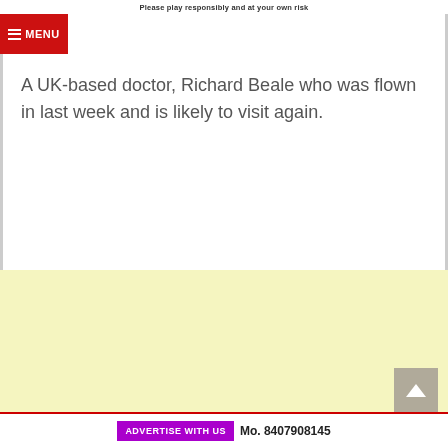Please play responsibly and at your own risk
A UK-based doctor, Richard Beale who was flown in last week and is likely to visit again.
[Figure (other): Yellow advertisement placeholder area]
ADVERTISE WITH US  Mo. 8407908145